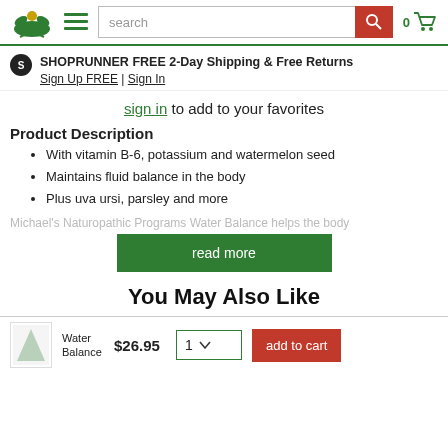Navigation bar with logo, hamburger menu, search box, and cart icon (0 items)
SHOPRUNNER FREE 2-Day Shipping & Free Returns Sign Up FREE | Sign In
sign in to add to your favorites
Product Description
With vitamin B-6, potassium and watermelon seed
Maintains fluid balance in the body
Plus uva ursi, parsley and more
Michael's Naturopathic Programs Water Balance helps the body
read more
You May Also Like
Water Balance  $26.95  1  add to cart